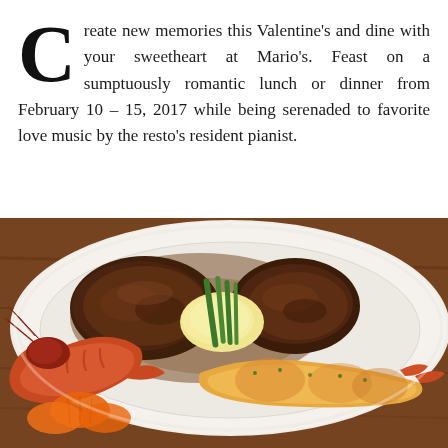Create new memories this Valentine's and dine with your sweetheart at Mario's. Feast on a sumptuously romantic lunch or dinner from February 10 - 15, 2017 while being serenaded to favorite love music by the resto's resident pianist.
[Figure (photo): A plated restaurant dish on a white plate showing grilled steak, shrimp/prawns, mashed potatoes, green beans, and sliced carrots, presented on a wooden table surface.]